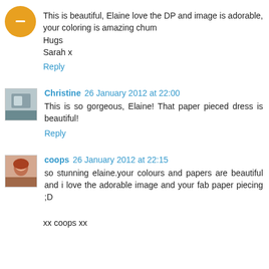[Figure (photo): Blogger default orange avatar icon with minus/person symbol]
This is beautiful, Elaine love the DP and image is adorable, your coloring is amazing chum
Hugs
Sarah x
Reply
[Figure (photo): Profile thumbnail photo of Christine]
Christine 26 January 2012 at 22:00
This is so gorgeous, Elaine! That paper pieced dress is beautiful!
Reply
[Figure (photo): Profile thumbnail photo of coops with red hair]
coops 26 January 2012 at 22:15
so stunning elaine.your colours and papers are beautiful and i love the adorable image and your fab paper piecing ;D
xx coops xx